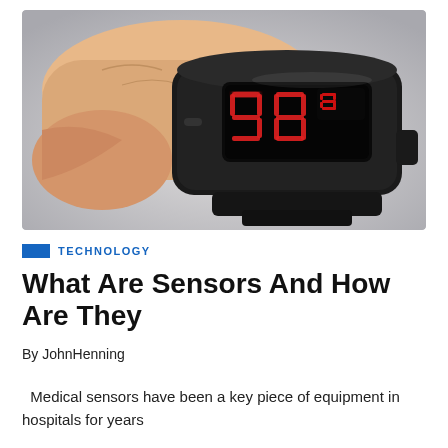[Figure (photo): A hand holding a black pulse oximeter/fingertip sensor device with a red LED display showing numbers, placed on a finger against a light grey background.]
TECHNOLOGY
What Are Sensors And How Are They
By JohnHenning
Medical sensors have been a key piece of equipment in hospitals for years